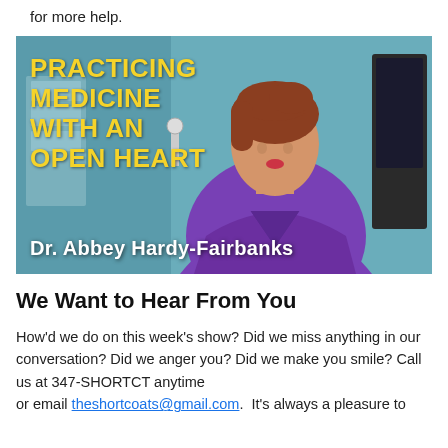for more help.
[Figure (photo): Video thumbnail showing a woman in purple scrubs in a medical office, with yellow text overlay reading 'Practicing Medicine With An Open Heart' and white text at bottom reading 'Dr. Abbey Hardy-Fairbanks']
We Want to Hear From You
How'd we do on this week's show? Did we miss anything in our conversation? Did we anger you? Did we make you smile? Call us at 347-SHORTCT anytime or email theshortcoats@gmail.com. It's always a pleasure to